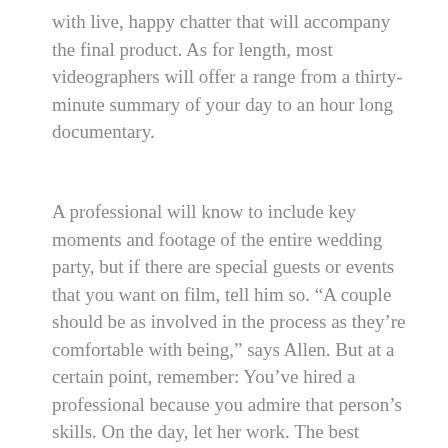with live, happy chatter that will accompany the final product. As for length, most videographers will offer a range from a thirty-minute summary of your day to an hour long documentary.
A professional will know to include key moments and footage of the entire wedding party, but if there are special guests or events that you want on film, tell him so. “A couple should be as involved in the process as they’re comfortable with being,” says Allen. But at a certain point, remember: You’ve hired a professional because you admire that person’s skills. On the day, let her work. The best moments, as Lara Laitala, who was married in New York City in April 2000, discovered, will not be the ones you planned: “I was dancing with my brother, and all of a sudden my veil